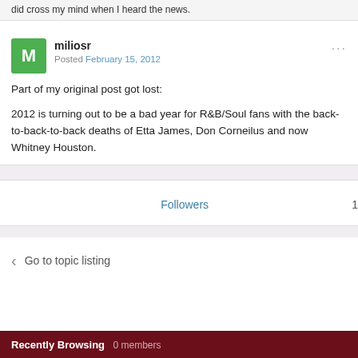did cross my mind when I heard the news.
miliosr
Posted February 15, 2012
Part of my original post got lost:
2012 is turning out to be a bad year for R&B/Soul fans with the back-to-back-to-back deaths of Etta James, Don Corneilus and now Whitney Houston.
Followers 1
Go to topic listing
Recently Browsing 0 members